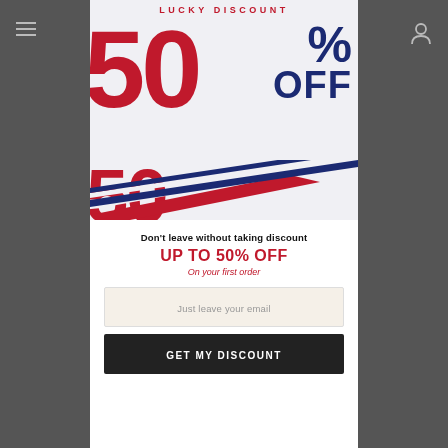[Figure (infographic): Lucky Discount popup modal showing 50% OFF promotional banner with large red '50' text, dark blue '%' and 'OFF' text, diagonal red and blue stripes, and a smaller red '50' at bottom. Title reads 'LUCKY DISCOUNT'.]
Don't leave without taking discount
UP TO 50% OFF
On your first order
Just leave your email
GET MY DISCOUNT